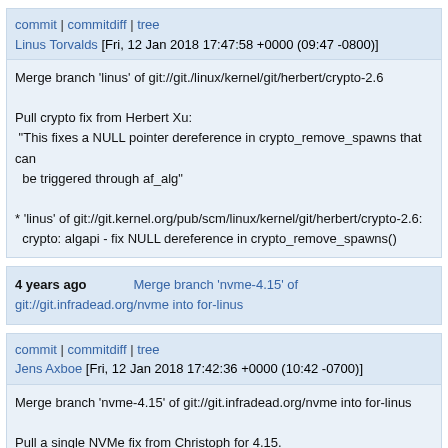commit | commitdiff | tree
Linus Torvalds [Fri, 12 Jan 2018 17:47:58 +0000 (09:47 -0800)]
Merge branch 'linus' of git://git./linux/kernel/git/herbert/crypto-2.6

Pull crypto fix from Herbert Xu:
 "This fixes a NULL pointer dereference in crypto_remove_spawns that can
  be triggered through af_alg"

* 'linus' of git://git.kernel.org/pub/scm/linux/kernel/git/herbert/crypto-2.6:
  crypto: algapi - fix NULL dereference in crypto_remove_spawns()
4 years ago    Merge branch 'nvme-4.15' of git://git.infradead.org/nvme into for-linus
commit | commitdiff | tree
Jens Axboe [Fri, 12 Jan 2018 17:42:36 +0000 (10:42 -0700)]
Merge branch 'nvme-4.15' of git://git.infradead.org/nvme into for-linus

Pull a single NVMe fix from Christoph for 4.15.